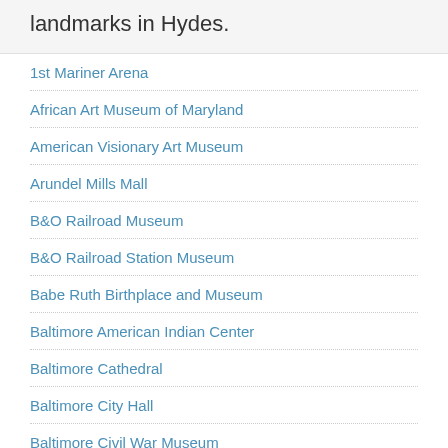landmarks in Hydes.
1st Mariner Arena
African Art Museum of Maryland
American Visionary Art Museum
Arundel Mills Mall
B&O Railroad Museum
B&O Railroad Station Museum
Babe Ruth Birthplace and Museum
Baltimore American Indian Center
Baltimore Cathedral
Baltimore City Hall
Baltimore Civil War Museum